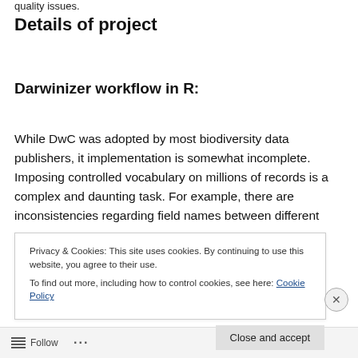quality issues.
Details of project
Darwinizer workflow in R:
While DwC was adopted by most biodiversity data publishers, it implementation is somewhat incomplete. Imposing controlled vocabulary on millions of records is a complex and daunting task. For example, there are inconsistencies regarding field names between different
Privacy & Cookies: This site uses cookies. By continuing to use this website, you agree to their use.
To find out more, including how to control cookies, see here: Cookie Policy
Follow